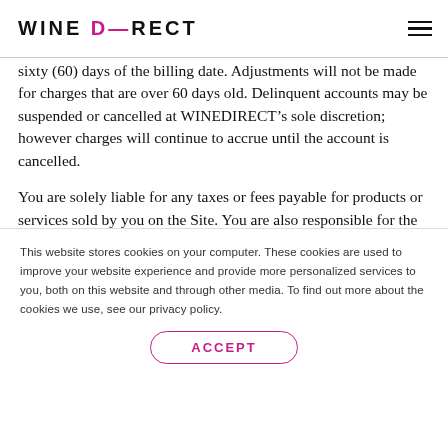WINEDIRECT
sixty (60) days of the billing date. Adjustments will not be made for charges that are over 60 days old. Delinquent accounts may be suspended or cancelled at WINEDIRECT’s sole discretion; however charges will continue to accrue until the account is cancelled.
You are solely liable for any taxes or fees payable for products or services sold by you on the Site. You are also responsible for the payment of all federal, state,
This website stores cookies on your computer. These cookies are used to improve your website experience and provide more personalized services to you, both on this website and through other media. To find out more about the cookies we use, see our privacy policy.
ACCEPT